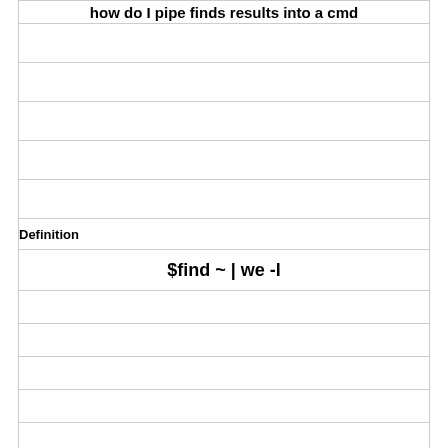how do I pipe finds results into a cmd
Definition
$find ~ | we -l
Term